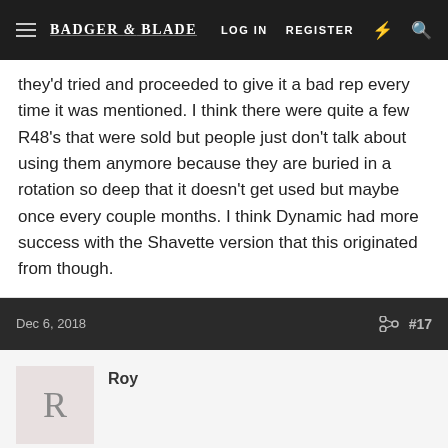BADGER & BLADE  LOG IN  REGISTER
they'd tried and proceeded to give it a bad rep every time it was mentioned. I think there were quite a few R48's that were sold but people just don't talk about using them anymore because they are buried in a rotation so deep that it doesn't get used but maybe once every couple months. I think Dynamic had more success with the Shavette version that this originated from though.
Dec 6, 2018  #17
Roy